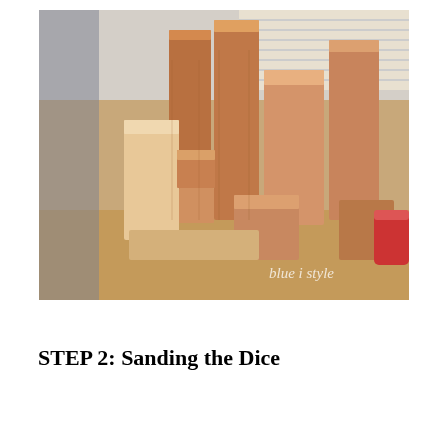[Figure (photo): Photograph of multiple wooden blocks and cubes of varying sizes stacked and arranged on a wooden surface in what appears to be a workshop or garage. The blocks are unfinished wood in light tan and medium brown tones. A watermark reading 'blue i style' is visible in the lower right corner of the photo.]
STEP 2: Sanding the Dice